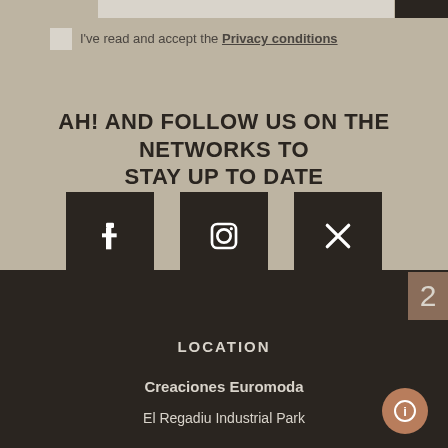I've read and accept the Privacy conditions
AH! AND FOLLOW US ON THE NETWORKS TO STAY UP TO DATE
[Figure (other): Three dark square social media icon buttons (Facebook, Instagram, Twitter/X) centered on beige background]
2
LOCATION
Creaciones Euromoda
El Regadiu Industrial Park